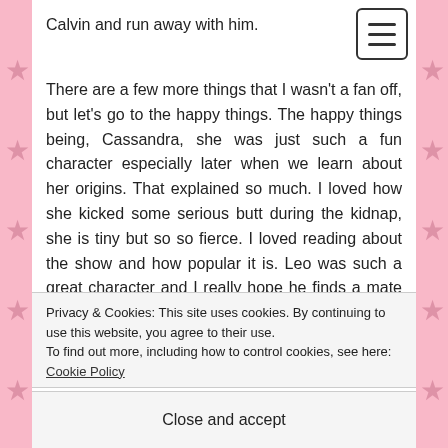[Figure (other): Pink background with grey star pattern on left and right sides]
[Figure (other): Hamburger menu icon button in top right corner]
Calvin and run away with him.
There are a few more things that I wasn't a fan off, but let's go to the happy things. The happy things being, Cassandra, she was just such a fun character especially later when we learn about her origins. That explained so much. I loved how she kicked some serious butt during the kidnap, she is tiny but so so fierce. I loved reading about the show and how popular it is. Leo was such a great character and I really hope he finds a mate (please, a novella with him in it finding his mate in a natural way). Then there are Xander's friends
Privacy & Cookies: This site uses cookies. By continuing to use this website, you agree to their use.
To find out more, including how to control cookies, see here: Cookie Policy
Close and accept
I loved reading about this city/town and the magic it